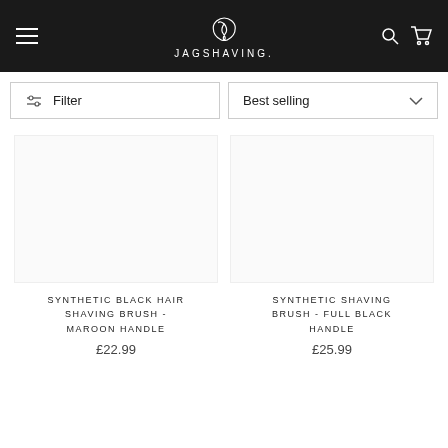JAGSHAVING.
Filter
Best selling
[Figure (photo): Product image placeholder for Synthetic Black Hair Shaving Brush - Maroon Handle]
SYNTHETIC BLACK HAIR SHAVING BRUSH - MAROON HANDLE
£22.99
[Figure (photo): Product image placeholder for Synthetic Shaving Brush - Full Black Handle]
SYNTHETIC SHAVING BRUSH - FULL BLACK HANDLE
£25.99